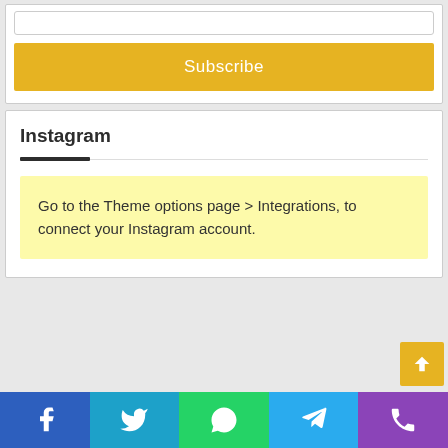[Figure (screenshot): Subscribe button widget card with an input field above and a gold Subscribe button]
Instagram
Go to the Theme options page > Integrations, to connect your Instagram account.
[Figure (screenshot): Back-to-top arrow button in gold]
Social share bar: Facebook, Twitter, WhatsApp, Telegram, Phone